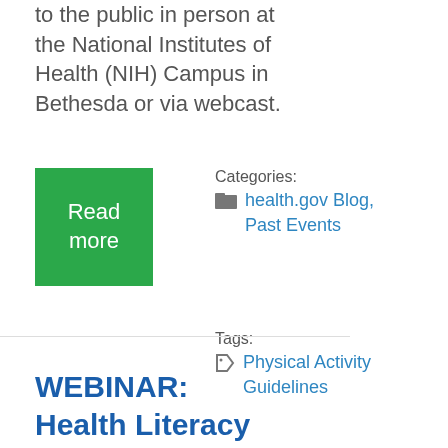to the public in person at the National Institutes of Health (NIH) Campus in Bethesda or via webcast.
Read more
Categories: health.gov Blog, Past Events
Tags: Physical Activity Guidelines
WEBINAR: Health Literacy